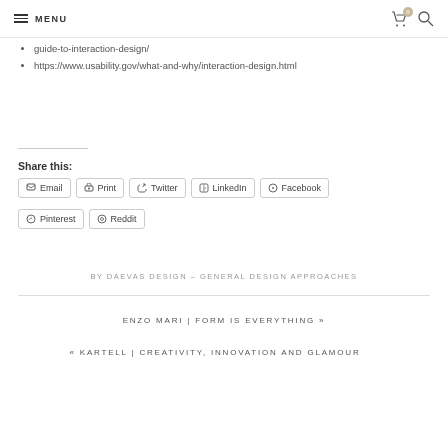MENU
guide-to-interaction-design/
https://www.usability.gov/what-and-why/interaction-design.html
Share this:
Email  Print  Twitter  LinkedIn  Facebook  Pinterest  Reddit
BY DAEVAS DESIGN – GENERAL DESIGN APPROACHES
ENZO MARI | FORM IS EVERYTHING »
« KARTELL | CREATIVITY, INNOVATION AND GLAMOUR